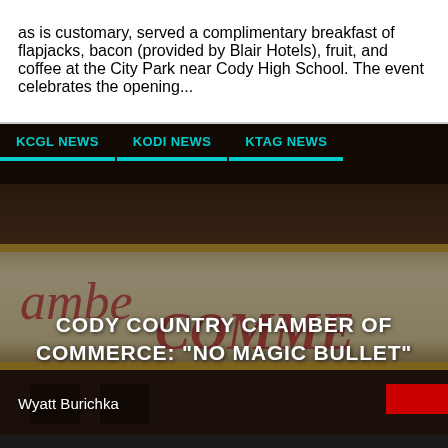as is customary, served a complimentary breakfast of flapjacks, bacon (provided by Blair Hotels), fruit, and coffee at the City Park near Cody High School. The event celebrates the opening...
[Figure (photo): Photo of a Chamber of Commerce building sign with decorative lettering reading 'Chamber of COMMERCE'. Three news tabs (KCGL NEWS, KODI NEWS, KTAG NEWS) appear at the top. A bold white title overlay reads 'CODY COUNTRY CHAMBER OF COMMERCE: NO MAGIC BULLET'. Author name 'Wyatt Burichka' appears at the bottom left, with a red bar at bottom right.]